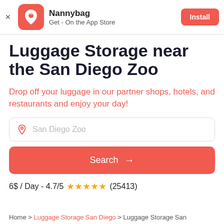[Figure (screenshot): Nannybag app banner with orange icon showing a location pin with a bag, app name 'Nannybag', subtitle 'Get - On the App Store', and an Install button]
Luggage Storage near the San Diego Zoo
Drop off your luggage in our partner shops, hotels, and restaurants and enjoy your day!
San Diego Zoo
Search →
6$ / Day  -  4.7/5 ★★★★★ (25413)
Home > Luggage Storage San Diego > Luggage Storage San